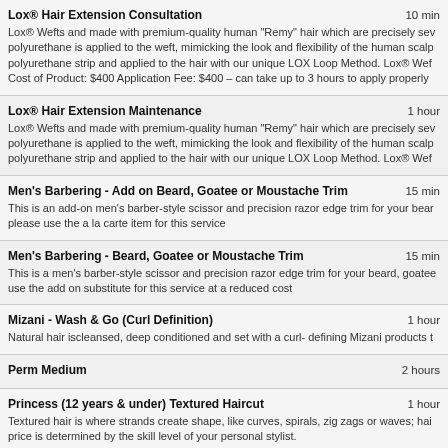Lox® Hair Extension Consultation | 10 min
Lox® Wefts and made with premium-quality human "Remy" hair which are precisely sew polyurethane is applied to the weft, mimicking the look and flexibility of the human scalp polyurethane strip and applied to the hair with our unique LOX Loop Method. Lox® Wef Cost of Product: $400 Application Fee: $400 – can take up to 3 hours to apply properly
Lox® Hair Extension Maintenance | 1 hour
Lox® Wefts and made with premium-quality human "Remy" hair which are precisely sew polyurethane is applied to the weft, mimicking the look and flexibility of the human scalp polyurethane strip and applied to the hair with our unique LOX Loop Method. Lox® Wef
Men's Barbering - Add on Beard, Goatee or Moustache Trim | 15 min
This is an add-on men's barber-style scissor and precision razor edge trim for your bear please use the a la carte item for this service
Men's Barbering - Beard, Goatee or Moustache Trim | 15 min
This is a men's barber-style scissor and precision razor edge trim for your beard, goatee use the add on substitute for this service at a reduced cost
Mizani - Wash & Go (Curl Definition) | 1 hour
Natural hair iscleansed, deep conditioned and set with a curl- defining Mizani products t
Perm Medium | 2 hours
Princess (12 years & under) Textured Haircut | 1 hour
Textured hair is where strands create shape, like curves, spirals, zig zags or waves; hai price is determined by the skill level of your personal stylist.
Special Event Styling | 1 hour